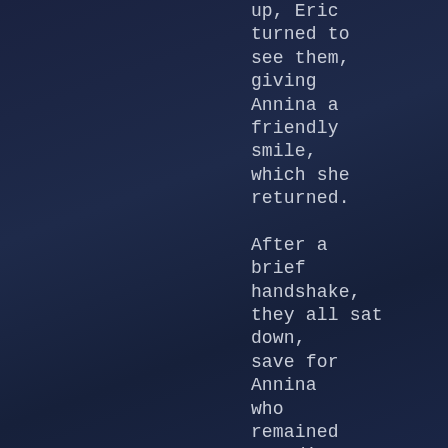up, Eric turned to see them, giving Annina a friendly smile, which she returned.

After a brief handshake, they all sat down, save for Annina who remained standing next to Jack,